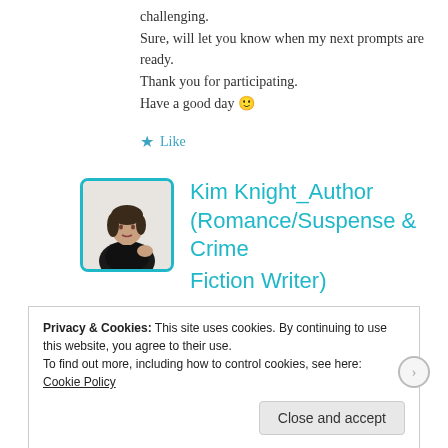challenging.
Sure, will let you know when my next prompts are ready.
Thank you for participating.
Have a good day 🙂
★ Like
[Figure (photo): Profile photo of Kim Knight, a woman in a black top, with teal border]
Kim Knight_Author (Romance/Suspense & Crime Fiction Writer)
Privacy & Cookies: This site uses cookies. By continuing to use this website, you agree to their use.
To find out more, including how to control cookies, see here:
Cookie Policy
Close and accept